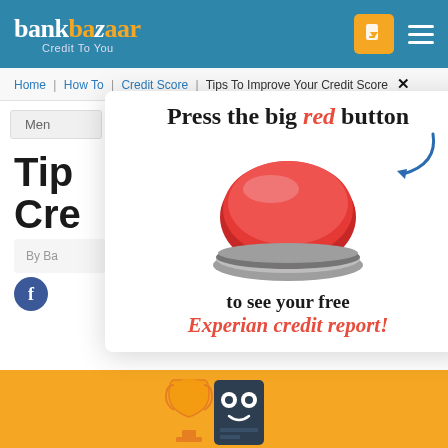bankbazaar Credit To You
Home | How To | Credit Score | Tips To Improve Your Credit Score
Menu
[Figure (infographic): Popup overlay with red button, arrow, and text: Press the big red button to see your free Experian credit report!]
Tips to Improve Your Credit Score
By Ba...
[Figure (illustration): Yellow banner with trophy and credit card character mascot]